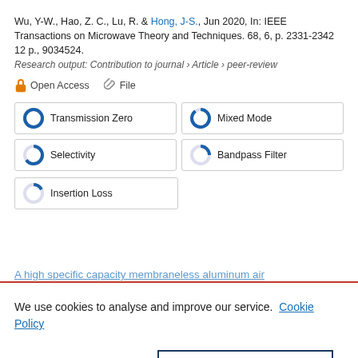Wu, Y-W., Hao, Z. C., Lu, R. & Hong, J-S., Jun 2020, In: IEEE Transactions on Microwave Theory and Techniques. 68, 6, p. 2331-2342 12 p., 9034524.
Research output: Contribution to journal › Article › peer-review
Open Access   File
Transmission Zero
Mixed Mode
Selectivity
Bandpass Filter
Insertion Loss
A high specific capacity membraneless aluminum air
We use cookies to analyse and improve our service. Cookie Policy
Cookies Settings
Accept All Cookies